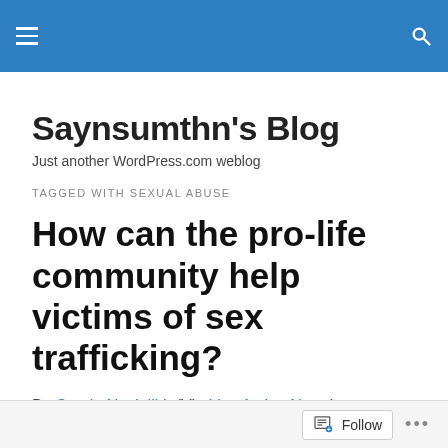Saynsumthn's Blog navigation header
Saynsumthn's Blog
Just another WordPress.com weblog
TAGGED WITH SEXUAL ABUSE
How can the pro-life community help victims of sex trafficking?
By Carole Novielli |  (Via Live Action News)
Follow ...